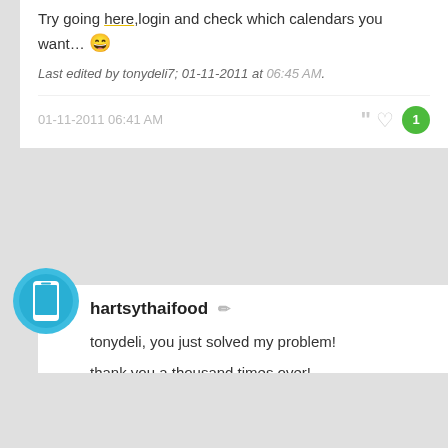Try going here,login and check which calendars you want… 😄
Last edited by tonydeli7; 01-11-2011 at 06:45 AM.
01-11-2011 06:41 AM
hartsythaifood
tonydeli, you just solved my problem!

thank you a thousand times over!
01-11-2011 11:08 AM